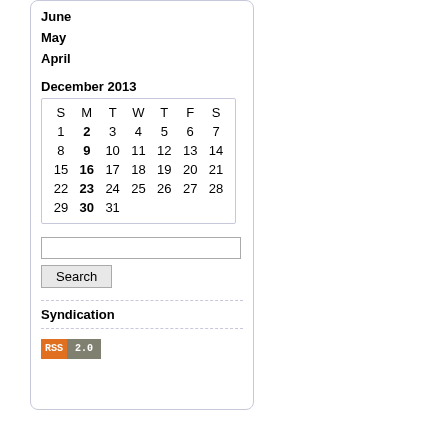June
May
April
December 2013
| S | M | T | W | T | F | S |
| --- | --- | --- | --- | --- | --- | --- |
| 1 | 2 | 3 | 4 | 5 | 6 | 7 |
| 8 | 9 | 10 | 11 | 12 | 13 | 14 |
| 15 | 16 | 17 | 18 | 19 | 20 | 21 |
| 22 | 23 | 24 | 25 | 26 | 27 | 28 |
| 29 | 30 | 31 |  |  |  |  |
Search
Syndication
[Figure (logo): RSS 2.0 badge with orange RSS label and gray 2.0 label]